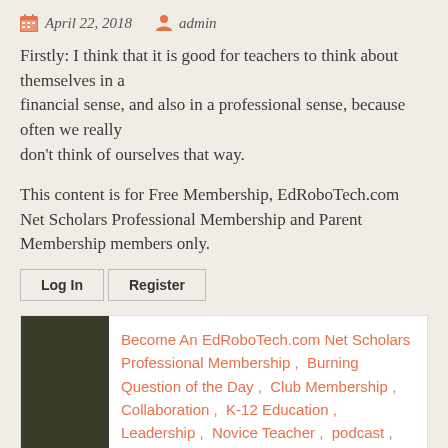April 22, 2018   admin
Firstly: I think that it is good for teachers to think about themselves in a financial sense, and also in a professional sense, because often we really don't think of ourselves that way.
This content is for Free Membership, EdRoboTech.com Net Scholars Professional Membership and Parent Membership members only.
Log In   Register
Become An EdRoboTech.com Net Scholars Professional Membership , Burning Question of the Day , Club Membership , Collaboration , K-12 Education , Leadership , Novice Teacher , podcast , Professional Development , Seasoned Professional , Special Education , Standard